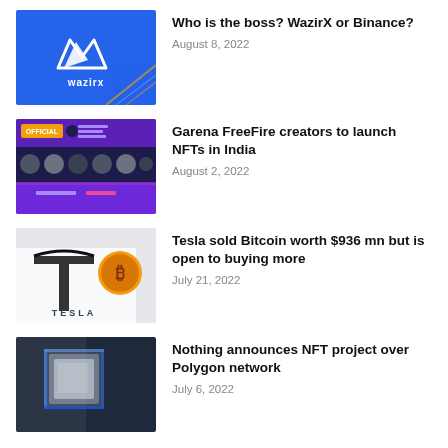[Figure (photo): WazirX logo on blue background with gold/white geometric mountain logo mark and 'wazirx' text in white]
Who is the boss? WazirX or Binance?
August 8, 2022
[Figure (photo): Garena FreeFire official NFT partners promotional banner with purple background, 'OFFICIAL' yellow badge, and portraits of multiple people]
Garena FreeFire creators to launch NFTs in India
August 2, 2022
[Figure (photo): Tesla logo on white surface with a gold Bitcoin coin next to it]
Tesla sold Bitcoin worth $936 mn but is open to buying more
July 21, 2022
[Figure (photo): Glass or crystal square-shaped object on dark background with blue tones]
Nothing announces NFT project over Polygon network
July 6, 2022